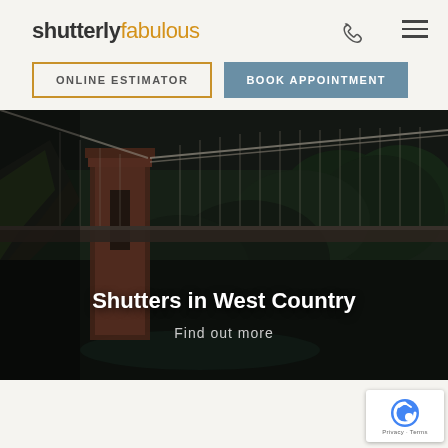shutterly fabulous
ONLINE ESTIMATOR
BOOK APPOINTMENT
[Figure (photo): Aerial view of a suspension bridge over a forested gorge, dark moody lighting with rocky cliffs and dense green trees]
Shutters in West Country
Find out more
[Figure (logo): reCAPTCHA badge with Google reCAPTCHA logo and Privacy - Terms text]